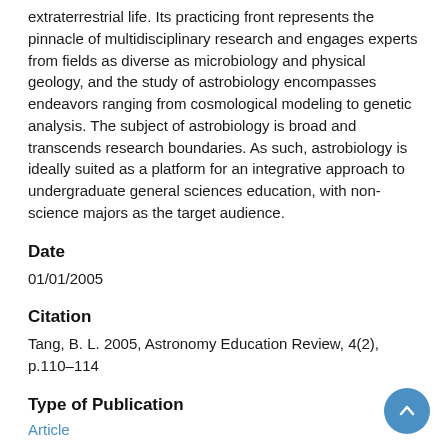extraterrestrial life. Its practicing front represents the pinnacle of multidisciplinary research and engages experts from fields as diverse as microbiology and physical geology, and the study of astrobiology encompasses endeavors ranging from cosmological modeling to genetic analysis. The subject of astrobiology is broad and transcends research boundaries. As such, astrobiology is ideally suited as a platform for an integrative approach to undergraduate general sciences education, with non-science majors as the target audience.
Date
01/01/2005
Citation
Tang, B. L. 2005, Astronomy Education Review, 4(2), p.110–114
Type of Publication
Article
Author(s)
Tang, Bor L.